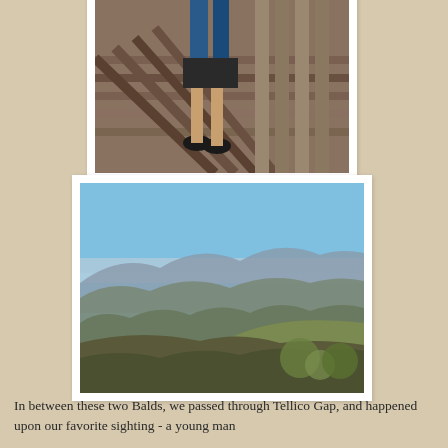[Figure (photo): Two people standing on wooden steps/structure, viewed from below, wearing shorts and sneakers]
[Figure (photo): Panoramic mountain landscape view from high elevation showing rolling forested hills and blue sky with haze]
In between these two Balds, we passed through Tellico Gap, and happened upon our favorite sighting - a young man